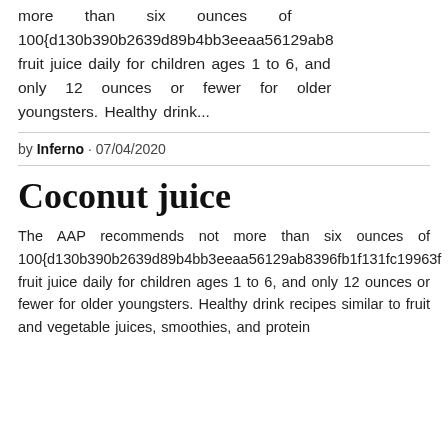more than six ounces of 100{d130b390b2639d89b4bb3eeaa56129ab8 fruit juice daily for children ages 1 to 6, and only 12 ounces or fewer for older youngsters. Healthy drink...
by Inferno · 07/04/2020
Coconut juice
The AAP recommends not more than six ounces of 100{d130b390b2639d89b4bb3eeaa56129ab8396fb1f131fc19963f fruit juice daily for children ages 1 to 6, and only 12 ounces or fewer for older youngsters. Healthy drink recipes similar to fruit and vegetable juices, smoothies, and protein